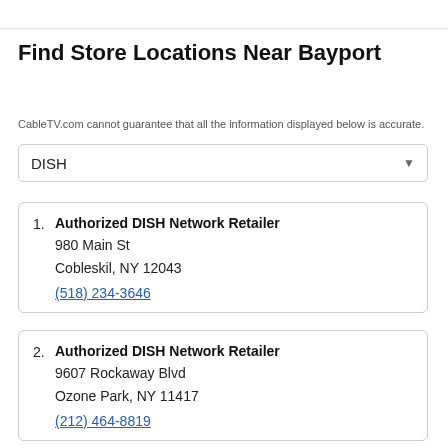Find Store Locations Near Bayport
CableTV.com cannot guarantee that all the information displayed below is accurate.
1. Authorized DISH Network Retailer
980 Main St
Cobleskil, NY 12043
(518) 234-3646
2. Authorized DISH Network Retailer
9607 Rockaway Blvd
Ozone Park, NY 11417
(212) 464-8819